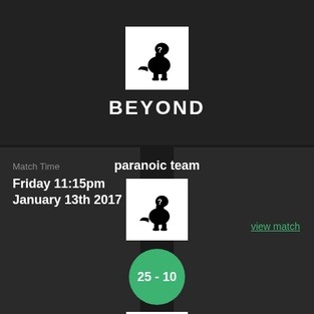[Figure (logo): Black and white dinosaur logo with question mark on white background]
BEYOND
Match Time
Friday 11:15pm January 13th 2017
view match
paranoic team
[Figure (logo): Black and white dinosaur logo with question mark on white background]
25 - 10
[Figure (logo): Black and white dinosaur logo with question mark on white background]